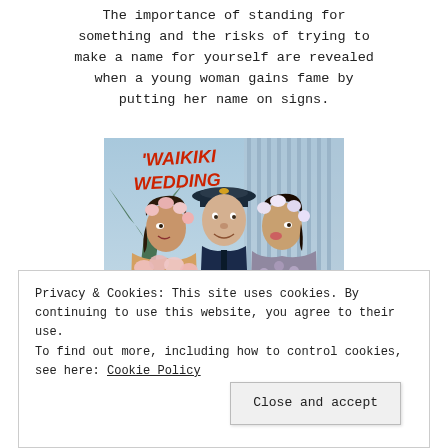The importance of standing for something and the risks of trying to make a name for yourself are revealed when a young woman gains fame by putting her name on signs.
[Figure (photo): Movie poster for 'Waikiki Wedding' showing Bing Crosby in a captain's hat flanked by two women wearing flower leis, with text listing Bing Crosby, Bob Burns, Martha Raye.]
Privacy & Cookies: This site uses cookies. By continuing to use this website, you agree to their use. To find out more, including how to control cookies, see here: Cookie Policy